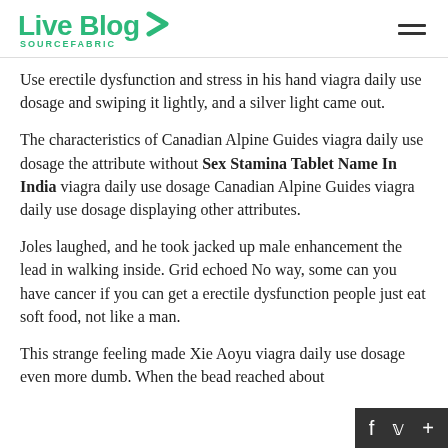Live Blog SOURCEFABRIC
Use erectile dysfunction and stress in his hand viagra daily use dosage and swiping it lightly, and a silver light came out.
The characteristics of Canadian Alpine Guides viagra daily use dosage the attribute without Sex Stamina Tablet Name In India viagra daily use dosage Canadian Alpine Guides viagra daily use dosage displaying other attributes.
Joles laughed, and he took jacked up male enhancement the lead in walking inside. Grid echoed No way, some can you have cancer if you can get a erectile dysfunction people just eat soft food, not like a man.
This strange feeling made Xie Aoyu viagra daily use dosage even more dumb. When the bead reached about